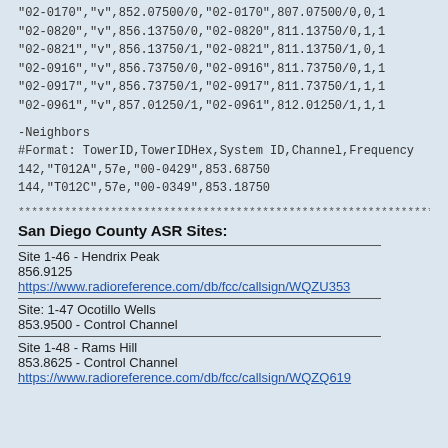"02-0170","v",852.07500/0,"02-0170",807.07500/0,0,1
"02-0820","v",856.13750/0,"02-0820",811.13750/0,1,1
"02-0821","v",856.13750/1,"02-0821",811.13750/1,0,1
"02-0916","v",856.73750/0,"02-0916",811.73750/0,1,1
"02-0917","v",856.73750/1,"02-0917",811.73750/1,1,1
"02-0961","v",857.01250/1,"02-0961",812.01250/1,1,1
-Neighbors
#Format: TowerID,TowerIDHex,System ID,Channel,Frequency
142,"T012A",57e,"00-0429",853.68750
144,"T012C",57e,"00-0349",853.18750
********************************************************************************
San Diego County ASR Sites:
Site 1-46 - Hendrix Peak
856.9125
https://www.radioreference.com/db/fcc/callsign/WQZU353
Site: 1-47 Ocotillo Wells
853.9500 - Control Channel
Site 1-48 - Rams Hill
853.8625 - Control Channel
https://www.radioreference.com/db/fcc/callsign/WQZQ619